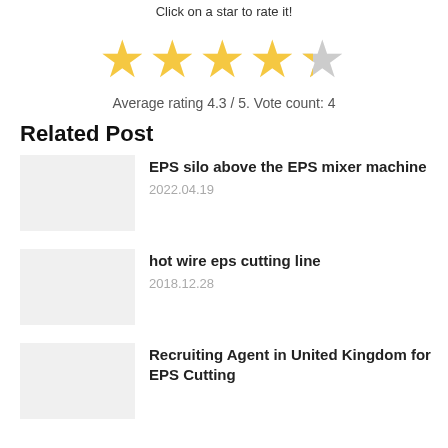Click on a star to rate it!
[Figure (other): Star rating widget showing 4 gold stars and 1 grey star (4.3 out of 5 rating)]
Average rating 4.3 / 5. Vote count: 4
Related Post
EPS silo above the EPS mixer machine
2022.04.19
hot wire eps cutting line
2018.12.28
Recruiting Agent in United Kingdom for EPS Cutting